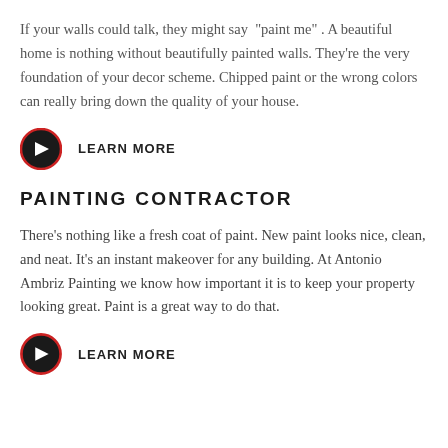If your walls could talk, they might say “paint me” . A beautiful home is nothing without beautifully painted walls. They’re the very foundation of your decor scheme. Chipped paint or the wrong colors can really bring down the quality of your house.
LEARN MORE
PAINTING CONTRACTOR
There’s nothing like a fresh coat of paint. New paint looks nice, clean, and neat. It’s an instant makeover for any building. At Antonio Ambriz Painting we know how important it is to keep your property looking great. Paint is a great way to do that.
LEARN MORE